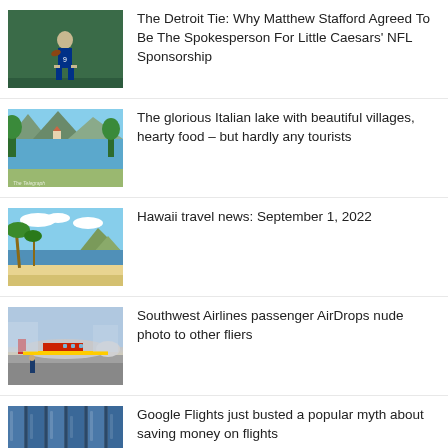[Figure (photo): Football player in LA Rams uniform holding a football on a green field]
The Detroit Tie: Why Matthew Stafford Agreed To Be The Spokesperson For Little Caesars' NFL Sponsorship
[Figure (photo): Scenic Italian lake with blue water, mountains, and lush green trees]
The glorious Italian lake with beautiful villages, hearty food – but hardly any tourists
[Figure (photo): Hawaii beach scene with palm trees, white sand, and ocean]
Hawaii travel news: September 1, 2022
[Figure (photo): Southwest Airlines plane on tarmac at airport]
Southwest Airlines passenger AirDrops nude photo to other fliers
[Figure (photo): Airport interior with blue glass walls and a person silhouetted]
Google Flights just busted a popular myth about saving money on flights